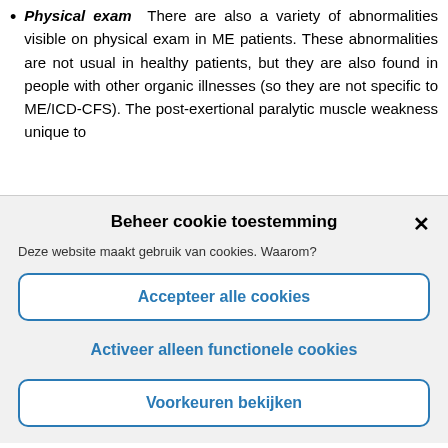Physical exam  There are also a variety of abnormalities visible on physical exam in ME patients. These abnormalities are not usual in healthy patients, but they are also found in people with other organic illnesses (so they are not specific to ME/ICD-CFS). The post-exertional paralytic muscle weakness unique to
Beheer cookie toestemming
Deze website maakt gebruik van cookies. Waarom?
Accepteer alle cookies
Activeer alleen functionele cookies
Voorkeuren bekijken